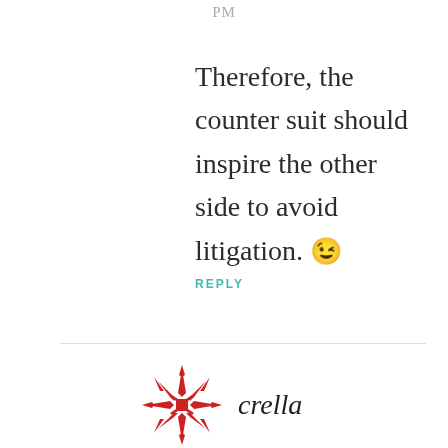PM
Therefore, the counter suit should inspire the other side to avoid litigation. 😉
REPLY
[Figure (logo): Crella brand logo: red geometric star/snowflake pattern icon followed by italic text 'crella']